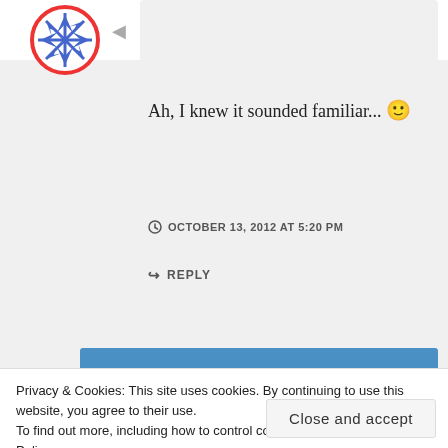[Figure (logo): Circular avatar with red border and blue star/snowflake pattern inside]
T. M. Hunter
Ah, I knew it sounded familiar... 🙂
OCTOBER 13, 2012 AT 5:20 PM
REPLY
Privacy & Cookies: This site uses cookies. By continuing to use this website, you agree to their use.
To find out more, including how to control cookies, see here: Cookie Policy
Close and accept